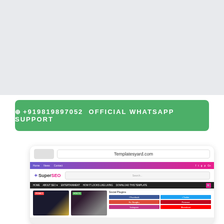[Figure (screenshot): Gray placeholder/advertisement area at the top of the page]
⊕+919819897052 OFFICIAL WHATSAPP SUPPORT
[Figure (screenshot): Screenshot of Templatesyard.com website showing SuperSEO blog template with navigation, logo, search bar, and social plugin sidebar]